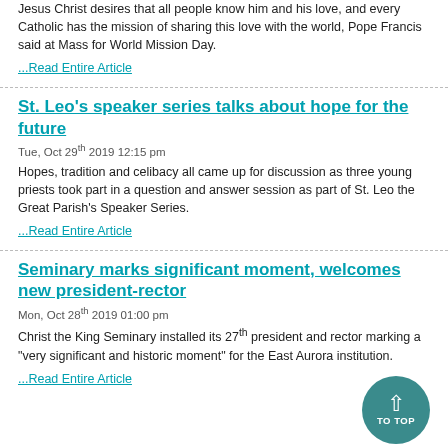Jesus Christ desires that all people know him and his love, and every Catholic has the mission of sharing this love with the world, Pope Francis said at Mass for World Mission Day.
...Read Entire Article
St. Leo's speaker series talks about hope for the future
Tue, Oct 29th 2019 12:15 pm
Hopes, tradition and celibacy all came up for discussion as three young priests took part in a question and answer session as part of St. Leo the Great Parish's Speaker Series.
...Read Entire Article
Seminary marks significant moment, welcomes new president-rector
Mon, Oct 28th 2019 01:00 pm
Christ the King Seminary installed its 27th president and rector marking a "very significant and historic moment" for the East Aurora institution.
...Read Entire Article